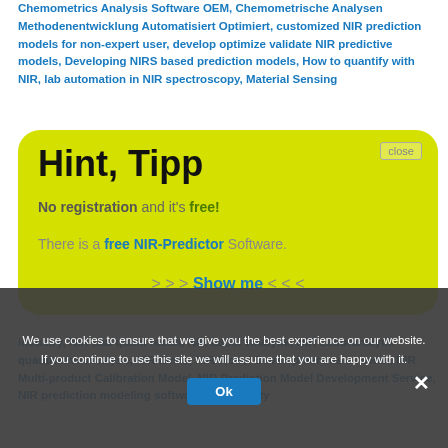Chemometrics Analysis Software OEM, Chemometrische Analysen Methodenentwicklung Automatisiert Optimiert, customized NIR prediction models for non-expert user, develop optimize validate NIR predictive models, Developing NIRS based prediction models, How to quantify with NIR, lab automation in NIR spectroscopy, Material Sensing
Hint, Tipp
No registration and it's free!
There is a free NIR-Predictor Software.
>>> Show me <<<
We use cookies to ensure that we give you the best experience on our website. If you continue to use this site we will assume that you are happy with it.
NIR Lab quant result, NIR Labor Analytik, NIR Laboranalytik quantitative Analyse, NIR Links, NIR Model Development as a model, NIR Multi-product Calibration Model, NIR Prediction Model Development Service, NIR prediction modeling software, NIR Quality